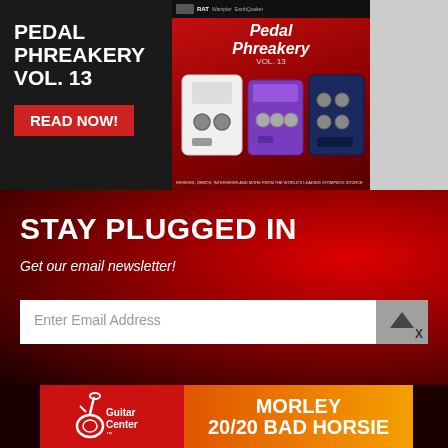[Figure (infographic): Advertisement for Pedal Phreakery Vol. 13 on dark background with red cover image showing guitar pedals]
PEDAL PHREAKERY VOL. 13
READ NOW!
[Figure (infographic): Newsletter signup section with red gradient background: STAY PLUGGED IN - Get our email newsletter! with email input field]
STAY PLUGGED IN
Get our email newsletter!
Enter Email Address
[Figure (infographic): Guitar Center advertisement for Morley 20/20 Bad Horsie with red left panel and orange gradient right panel]